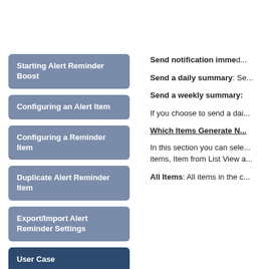Starting Alert Reminder Boost
Configuring an Alert Item
Configuring a Reminder Item
Duplicate Alert Reminder Item
Export/Import Alert Reminder Settings
User Case
Back to top
Send notification immed...
Send a daily summary: Se...
Send a weekly summary:
If you choose to send a dai...
Which Items Generate N...
In this section you can sele... items, Item from List View a...
All Items: All items in the c...